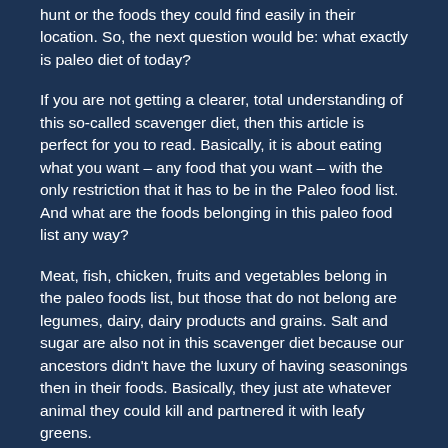hunt or the foods they could find easily in their location. So, the next question would be: what exactly is paleo diet of today?
If you are not getting a clearer, total understanding of this so-called scavenger diet, then this article is perfect for you to read. Basically, it is about eating what you want – any food that you want – with the only restriction that it has to be in the Paleo food list. And what are the foods belonging in this paleo food list any way?
Meat, fish, chicken, fruits and vegetables belong in the paleo foods list, but those that do not belong are legumes, dairy, dairy products and grains. Salt and sugar are also not in this scavenger diet because our ancestors didn't have the luxury of having seasonings then in their foods. Basically, they just ate whatever animal they could kill and partnered it with leafy greens.
The only liquids that are accepted in the paleolithic diet are water or coconut water. And in this diet, you are only